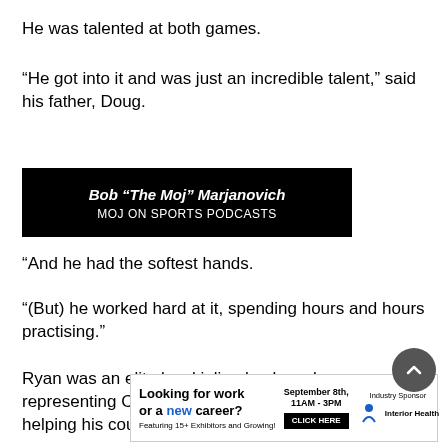He was talented at both games.
“He got into it and was just an incredible talent,” said his father, Doug.
[Figure (other): Black banner with text: Bob “The Moj” Marjanovich / MOJ ON SPORTS PODCASTS]
“And he had the softest hands.
“(But) he worked hard at it, spending hours and hours practising.”
Ryan was an elite level inline hockey player, representing Canada on the international stage and helping his country
[Figure (infographic): Advertisement: Looking for work or a new career? September 8th, 11AM-3PM. Featuring 15+ Exhibitors and Growing! CLICK HERE. Industry Sponsor: Interior Health.]